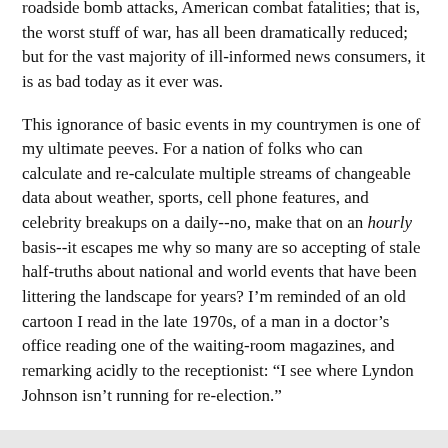roadside bomb attacks, American combat fatalities; that is, the worst stuff of war, has all been dramatically reduced; but for the vast majority of ill-informed news consumers, it is as bad today as it ever was.
This ignorance of basic events in my countrymen is one of my ultimate peeves. For a nation of folks who can calculate and re-calculate multiple streams of changeable data about weather, sports, cell phone features, and celebrity breakups on a daily--no, make that on an hourly basis--it escapes me why so many are so accepting of stale half-truths about national and world events that have been littering the landscape for years? I'm reminded of an old cartoon I read in the late 1970s, of a man in a doctor's office reading one of the waiting-room magazines, and remarking acidly to the receptionist: “I see where Lyndon Johnson isn’t running for re-election.”
How can a nation bored with last month’s I-Pod technology cling so dearly to lies they were told by the mainstream media five years ago?